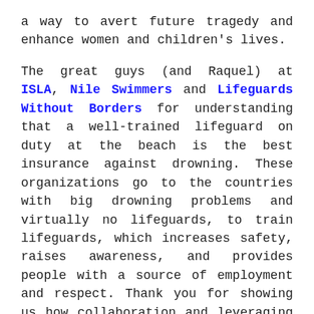a way to avert future tragedy and enhance women and children's lives.
The great guys (and Raquel) at ISLA, Nile Swimmers and Lifeguards Without Borders for understanding that a well-trained lifeguard on duty at the beach is the best insurance against drowning. These organizations go to the countries with big drowning problems and virtually no lifeguards, to train lifeguards, which increases safety, raises awareness, and provides people with a source of employment and respect. Thank you for showing us how collaboration and leveraging social media can bring the entire world together.
Moses Kalanzi in Uganda, and the many people around the world like him. Often there are literally just a handful of people in each country who are working to make people aware that drowning is a leading cause of